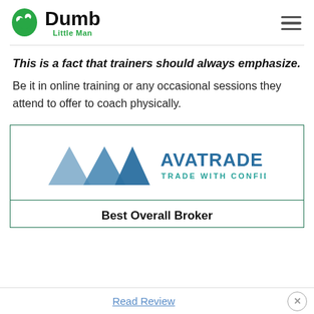Dumb Little Man
This is a fact that trainers should always emphasize. Be it in online training or any occasional sessions they attend to offer to coach physically.
[Figure (logo): AvaTrade logo with text: AVATRADE TRADE WITH CONFIDENCE]
Best Overall Broker
Read Review